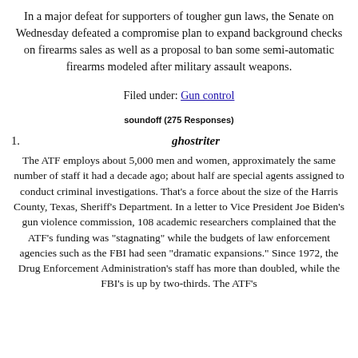In a major defeat for supporters of tougher gun laws, the Senate on Wednesday defeated a compromise plan to expand background checks on firearms sales as well as a proposal to ban some semi-automatic firearms modeled after military assault weapons.
Filed under: Gun control
soundoff (275 Responses)
1. ghostriter
The ATF employs about 5,000 men and women, approximately the same number of staff it had a decade ago; about half are special agents assigned to conduct criminal investigations. That's a force about the size of the Harris County, Texas, Sheriff's Department. In a letter to Vice President Joe Biden's gun violence commission, 108 academic researchers complained that the ATF's funding was "stagnating" while the budgets of law enforcement agencies such as the FBI had seen "dramatic expansions." Since 1972, the Drug Enforcement Administration's staff has more than doubled, while the FBI's is up by two-thirds. The ATF's